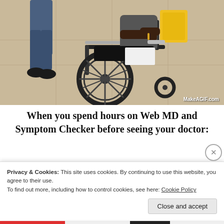[Figure (photo): A person sitting in a wheelchair being pushed, partially cropped. Lower body and wheelchair visible. MakeAGIF.com watermark in bottom right corner.]
When you spend hours on Web MD and Symptom Checker before seeing your doctor:
Privacy & Cookies: This site uses cookies. By continuing to use this website, you agree to their use.
To find out more, including how to control cookies, see here: Cookie Policy
Close and accept